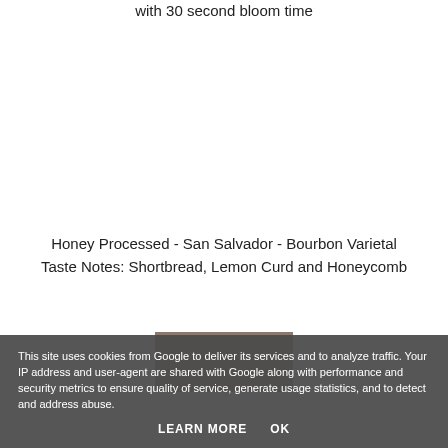with 30 second bloom time
Honey Processed - San Salvador - Bourbon Varietal
Taste Notes: Shortbread, Lemon Curd and Honeycomb
This site uses cookies from Google to deliver its services and to analyze traffic. Your IP address and user-agent are shared with Google along with performance and security metrics to ensure quality of service, generate usage statistics, and to detect and address abuse.
LEARN MORE   OK